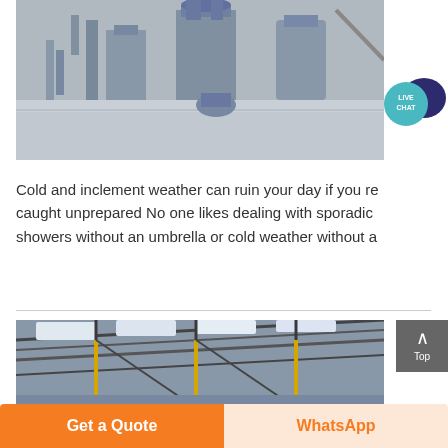[Figure (photo): Industrial facility with large dust collection or filtration equipment, metallic tanks and ductwork, inside a warehouse with wet floor]
[Figure (other): Live Chat bubble icon — teal circle with LIVE CHAT text and dark speech bubble]
Cold and inclement weather can ruin your day if you re caught unprepared No one likes dealing with sporadic showers without an umbrella or cold weather without a
[Figure (photo): Industrial warehouse interior with large angled roof trusses, skylights, and conveyor or structural beams]
[Figure (other): Back to top arrow button (gray square with upward chevron and 'Top' label)]
Get a Quote
WhatsApp